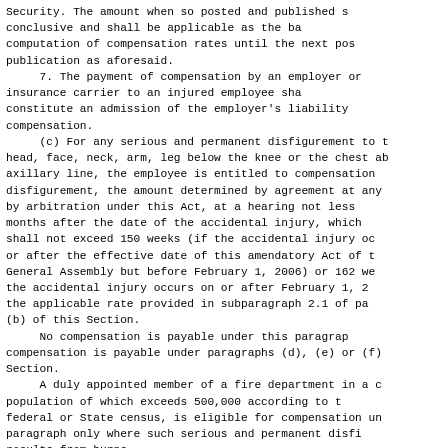Security. The amount when so posted and published s conclusive and shall be applicable as the ba computation of compensation rates until the next pos publication as aforesaid.
     7. The payment of compensation by an employer or insurance carrier to an injured employee sha constitute an admission of the employer's liability compensation.
     (c) For any serious and permanent disfigurement to t head, face, neck, arm, leg below the knee or the chest ab axillary line, the employee is entitled to compensation  disfigurement, the amount determined by agreement at any by arbitration under this Act, at a hearing not less months after the date of the accidental injury, which shall not exceed 150 weeks (if the accidental injury oc or after the effective date of this amendatory Act of t General Assembly but before February 1, 2006) or 162 we the accidental injury occurs on or after February 1, 2 the applicable rate provided in subparagraph 2.1 of pa (b) of this Section.
     No compensation is payable under this paragrap compensation is payable under paragraphs (d), (e) or (f) Section.
     A duly appointed member of a fire department in a c population of which exceeds 500,000 according to t federal or State census, is eligible for compensation un paragraph only where such serious and permanent disfi results from burns.
     (d) 1. If, after the accidental injury has been su the employee as a result thereof becomes partially incap